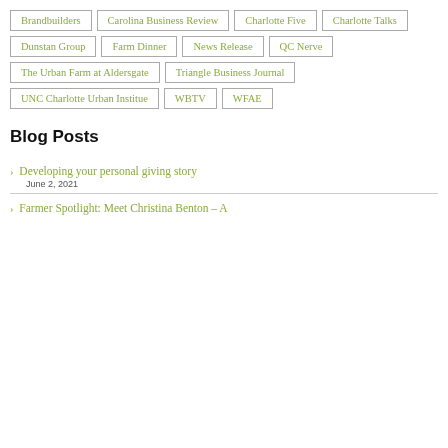Brandbuilders
Carolina Business Review
Charlotte Five
Charlotte Talks
Dunstan Group
Farm Dinner
News Release
QC Nerve
The Urban Farm at Aldersgate
Triangle Business Journal
UNC Charlotte Urban Institue
WBTV
WFAE
Blog Posts
Developing your personal giving story
June 2, 2021
Farmer Spotlight: Meet Christina Benton – A